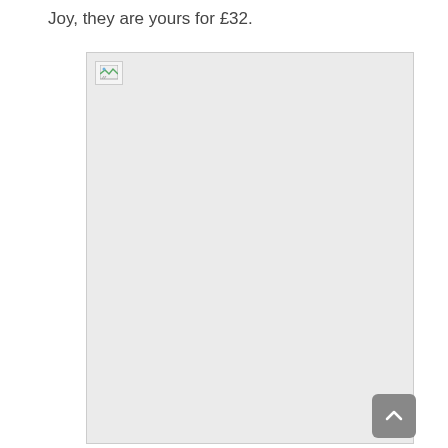Joy, they are yours for £32.
[Figure (photo): Broken/unloaded image placeholder with grey background and small broken image icon in top-left corner]
[Figure (other): Scroll-to-top button (dark grey rounded rectangle with upward-pointing chevron arrow)]